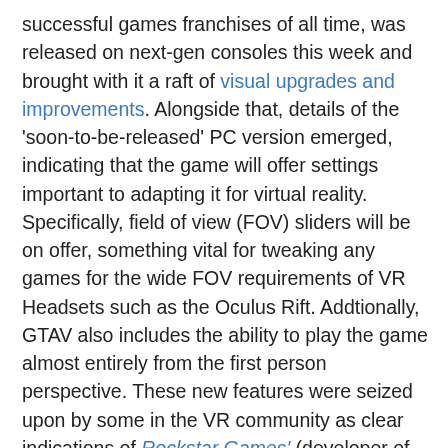successful games franchises of all time, was released on next-gen consoles this week and brought with it a raft of visual upgrades and improvements. Alongside that, details of the 'soon-to-be-released' PC version emerged, indicating that the game will offer settings important to adapting it for virtual reality. Specifically, field of view (FOV) sliders will be on offer, something vital for tweaking any games for the wide FOV requirements of VR Headsets such as the Oculus Rift. Addtionally, GTAV also includes the ability to play the game almost entirely from the first person perspective. These new features were seized upon by some in the VR community as clear indications of Rockstar Games' (developer of GTA) intentions for virtual reality support at some point in the future.